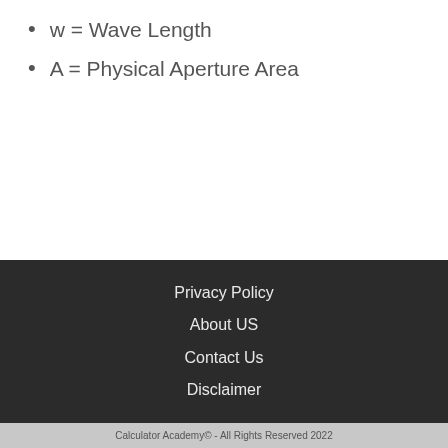w = Wave Length
A = Physical Aperture Area
Privacy Policy
About US
Contact Us
Disclaimer
Calculator Academy© - All Rights Reserved 2022